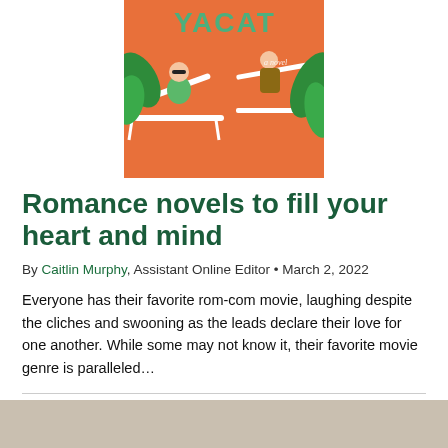[Figure (illustration): Book cover with orange background showing two people lounging on beach chairs with tropical plants, title text 'VACAT...' partially visible, subtitle 'a novel']
Romance novels to fill your heart and mind
By Caitlin Murphy, Assistant Online Editor • March 2, 2022
Everyone has their favorite rom-com movie, laughing despite the cliches and swooning as the leads declare their love for one another. While some may not know it, their favorite movie genre is paralleled...